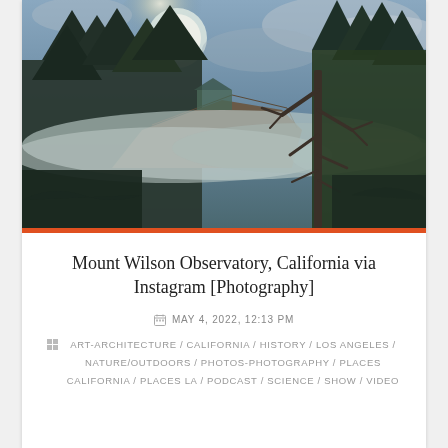[Figure (photo): Misty forested landscape at Mount Wilson Observatory, California. Trees silhouetted against a cloudy sky with a bright hazy sun or moon, low-lying fog or mist among the trees, moody blue-grey tones.]
Mount Wilson Observatory, California via Instagram [Photography]
MAY 4, 2022, 12:13 PM
ART-ARCHITECTURE / CALIFORNIA / HISTORY / LOS ANGELES / NATURE/OUTDOORS / PHOTOS-PHOTOGRAPHY / PLACES CALIFORNIA / PLACES LA / PODCAST / SCIENCE / SHOW / VIDEO